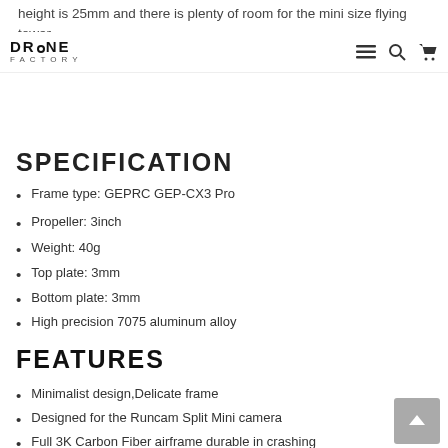height is 25mm and there is plenty of room for the mini size flying tower.
DRONE FACTORY [navigation icons: menu, search, cart]
SPECIFICATION
Frame type: GEPRC GEP-CX3 Pro
Propeller: 3inch
Weight: 40g
Top plate: 3mm
Bottom plate: 3mm
High precision 7075 aluminum alloy
FEATURES
Minimalist design,Delicate frame
Designed for the Runcam Split Mini camera
Full 3K Carbon Fiber airframe durable in crashing